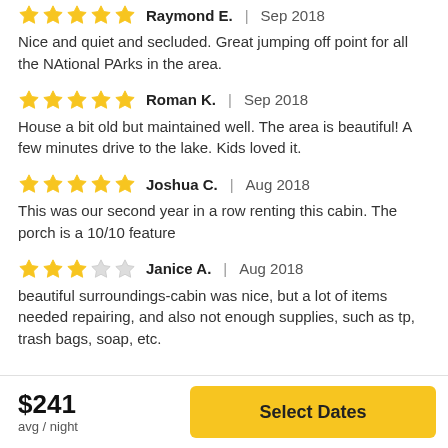Raymond E. | Sep 2018 — Nice and quiet and secluded. Great jumping off point for all the NAtional PArks in the area.
Roman K. | Sep 2018 — House a bit old but maintained well. The area is beautiful! A few minutes drive to the lake. Kids loved it.
Joshua C. | Aug 2018 — This was our second year in a row renting this cabin. The porch is a 10/10 feature
Janice A. | Aug 2018 — beautiful surroundings-cabin was nice, but a lot of items needed repairing, and also not enough supplies, such as tp, trash bags, soap, etc.
$241 avg / night
Select Dates